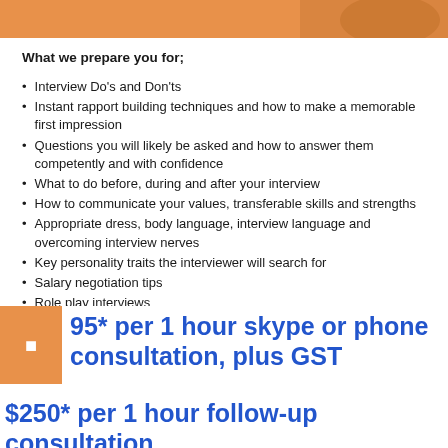[Figure (photo): Orange banner at top of page, partial view of a person]
What we prepare you for;
Interview Do's and Don'ts
Instant rapport building techniques and how to make a memorable first impression
Questions you will likely be asked and how to answer them competently and with confidence
What to do before, during and after your interview
How to communicate your values, transferable skills and strengths
Appropriate dress, body language, interview language and overcoming interview nerves
Key personality traits the interviewer will search for
Salary negotiation tips
Role play interviews
95* per 1 hour skype or phone consultation, plus GST
$250* per 1 hour follow-up consultation